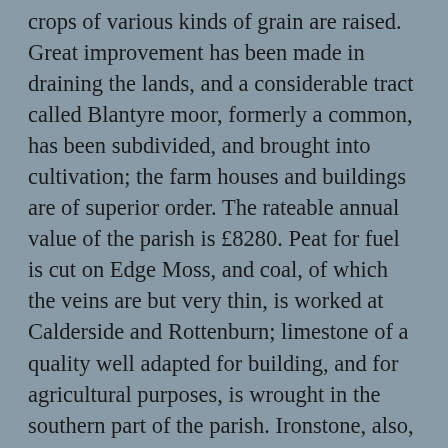crops of various kinds of grain are raised. Great improvement has been made in draining the lands, and a considerable tract called Blantyre moor, formerly a common, has been subdivided, and brought into cultivation; the farm houses and buildings are of superior order. The rateable annual value of the parish is £8280. Peat for fuel is cut on Edge Moss, and coal, of which the veins are but very thin, is worked at Calderside and Rottenburn; limestone of a quality well adapted for building, and for agricultural purposes, is wrought in the southern part of the parish. Ironstone, also, is abundant, and at Black-Craig, on the borders of the parish, not less than seventeen different seams are seen, superincumbent on each other; the ironstone is worked in the parish of Kilbride, where are the openings of the mines, but the strata lie principally in this parish.The principal village is situated on an eminence